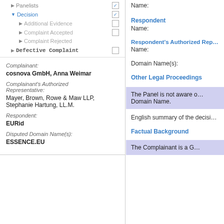Panelists
Decision
Additional Evidence
Complaint Accepted
Complaint Rejected
Defective Complaint
Complainant: cosnova GmbH, Anna Weimar
Complainant's Authorized Representative: Mayer, Brown, Rowe & Maw LLP, Stephanie Hartung, LL.M.
Respondent: EURid
Disputed Domain Name(s): ESSENCE.EU
Name:
Respondent
Name:
Respondent's Authorized Rep…
Name:
Domain Name(s):
Other Legal Proceedings
The Panel is not aware of Domain Name.
English summary of the decisi…
Factual Background
The Complainant is a G…